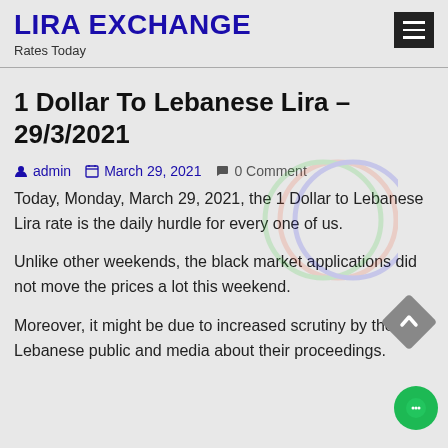LIRA EXCHANGE
Rates Today
1 Dollar To Lebanese Lira – 29/3/2021
admin   March 29, 2021   0 Comment
Today, Monday, March 29, 2021, the 1 Dollar to Lebanese Lira rate is the daily hurdle for every one of us.
Unlike other weekends, the black market applications did not move the prices a lot this weekend.
Moreover, it might be due to increased scrutiny by the Lebanese public and media about their proceedings.